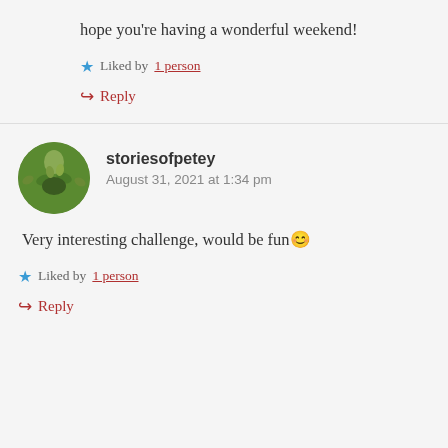hope you're having a wonderful weekend!
★ Liked by 1 person
↪ Reply
storiesofpetey
August 31, 2021 at 1:34 pm
Very interesting challenge, would be fun😊
★ Liked by 1 person
↪ Reply